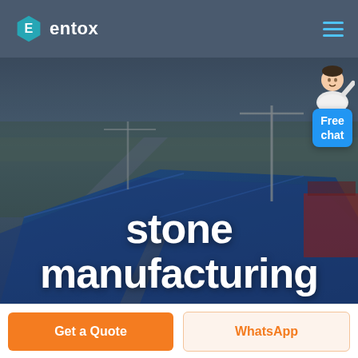[Figure (logo): Entox logo: hexagon with letter E in teal, followed by 'entox' in white bold text]
[Figure (photo): Aerial view of an industrial/manufacturing facility with blue rooftops and construction cranes, overlaid with large white text 'stone manufacturing']
stone manufacturing
[Figure (illustration): Free chat widget: avatar of a person in white jacket pointing, with a blue speech bubble reading 'Free chat']
Get a Quote
WhatsApp